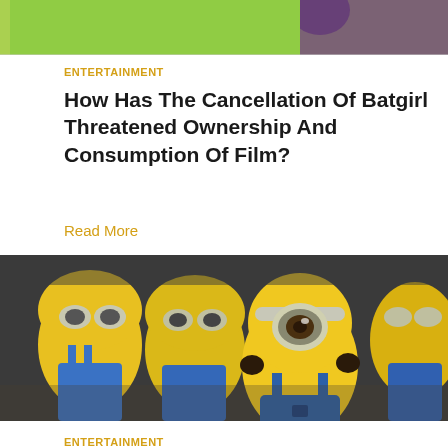[Figure (photo): Top cropped image showing colorful comic-book style artwork with green and purple tones]
ENTERTAINMENT
How Has The Cancellation Of Batgirl Threatened Ownership And Consumption Of Film?
Read More
[Figure (photo): Photo of Minion figurines, one in focus in the foreground with a single goggle eye, others blurred in the background, all yellow with blue overalls]
ENTERTAINMENT
The 'GentleMinions' Trend Suite, Banana...